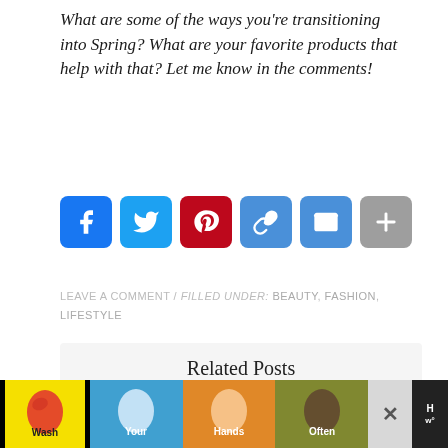What are some of the ways you're transitioning into Spring? What are your favorite products that help with that? Let me know in the comments!
[Figure (infographic): Social sharing buttons: Facebook (blue), Twitter (light blue), Pinterest (red), Link/Copy (blue), Email (blue), More/Plus (grey)]
LEAVE A COMMENT / FILLED UNDER: BEAUTY, FASHION, LIFESTYLE
Related Posts
[Figure (photo): Three thumbnail images: beauty/makeup products flatlay, Shopbob sale ad with Lounge Around text, pink cosmetics/makeup palette]
[Figure (infographic): Advertisement banner: Wash Your Hands Often with hand icons on colored segments, close button]